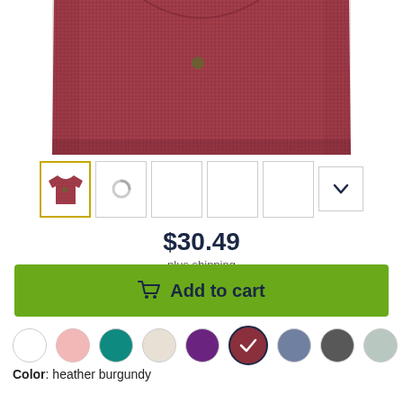[Figure (photo): Heather burgundy t-shirt product image, cropped closeup of shirt body and collar area]
[Figure (screenshot): Thumbnail gallery row: first thumbnail shows full t-shirt (selected, yellow border), second shows loading spinner, three empty thumbnails, and a chevron-down arrow button]
$30.49
plus shipping
Add to cart
[Figure (infographic): Color swatch selector row with 9 circular swatches: white, light pink, teal, light beige, purple, heather burgundy (selected with checkmark), slate blue, charcoal gray, light gray-green]
Color: heather burgundy